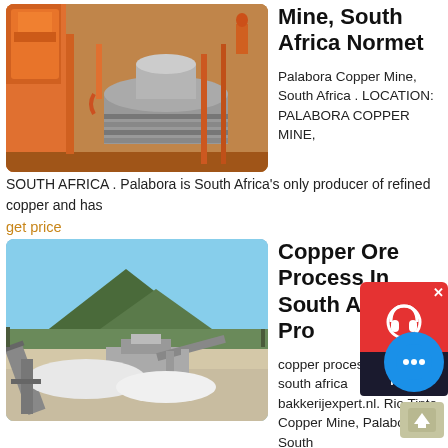[Figure (photo): Industrial cone crusher machine at a copper mine site, orange and brown machinery against blue sky.]
Mine, South Africa Normet
Palabora Copper Mine, South Africa . LOCATION: PALABORA COPPER MINE, SOUTH AFRICA . Palabora is South Africa's only producer of refined copper and has
get price
[Figure (photo): Open-pit copper ore processing plant in South Africa with mountains in the background and industrial conveyor equipment.]
Copper Ore Process In South Africa Pro...
copper processing plant in south africa bakkerijexpert.nl. Rio Tinto Copper Mine, Palabora, South
Mine Mining Copper ... all over in Afri...